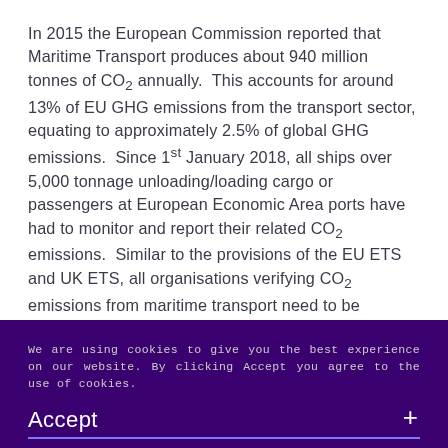In 2015 the European Commission reported that Maritime Transport produces about 940 million tonnes of CO₂ annually. This accounts for around 13% of EU GHG emissions from the transport sector, equating to approximately 2.5% of global GHG emissions. Since 1st January 2018, all ships over 5,000 tonnage unloading/loading cargo or passengers at European Economic Area ports have had to monitor and report their related CO₂ emissions. Similar to the provisions of the EU ETS and UK ETS, all organisations verifying CO₂ emissions from maritime transport need to be accredited to ISO 14065.
We are using cookies to give you the best experience on our website. By clicking Accept you agree to the use of cookies.
Accept +